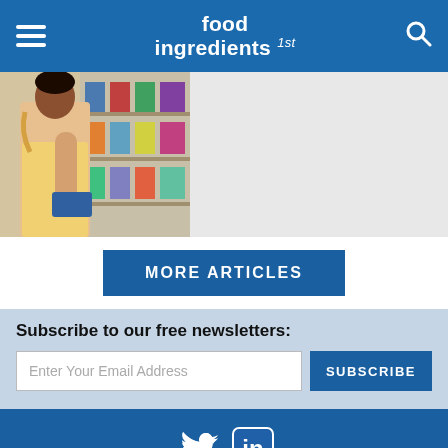food ingredients 1st
[Figure (photo): Person in a grocery store checking product label on a shelf]
MORE ARTICLES
Subscribe to our free newsletters:
Enter Your Email Address
SUBSCRIBE
Contact Us  About Us  Advertising  Privacy & Cookie Policy

FoodIngredientsFirst.com is the leading international publisher on food ingredients and food product development. The platform is hosted by CNS Media BV, Arnhem, The Netherlands.